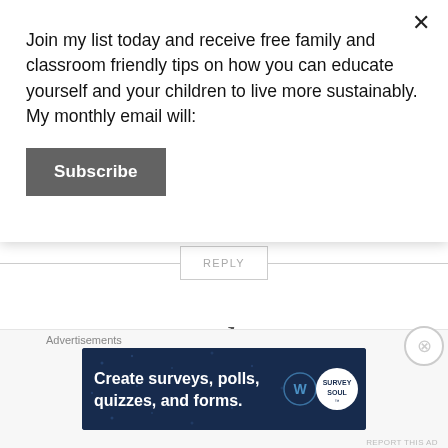Join my list today and receive free family and classroom friendly tips on how you can educate yourself and your children to live more sustainably. My monthly email will:
Subscribe
REPLY
Leave a Reply
Advertisements
[Figure (screenshot): Advertisement banner: dark navy blue background with white bold text reading 'Create surveys, polls, quizzes, and forms.' with a WordPress logo and a circular Survey logo on the right.]